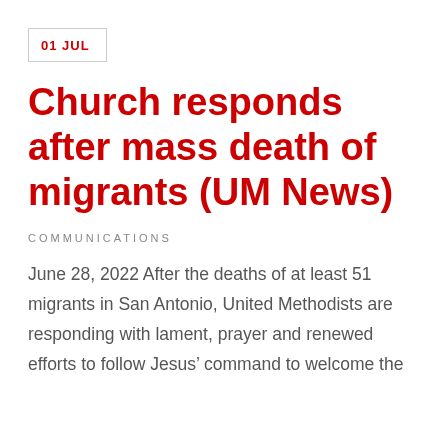01 JUL
Church responds after mass death of migrants (UM News)
COMMUNICATIONS
June 28, 2022 After the deaths of at least 51 migrants in San Antonio, United Methodists are responding with lament, prayer and renewed efforts to follow Jesus’ command to welcome the